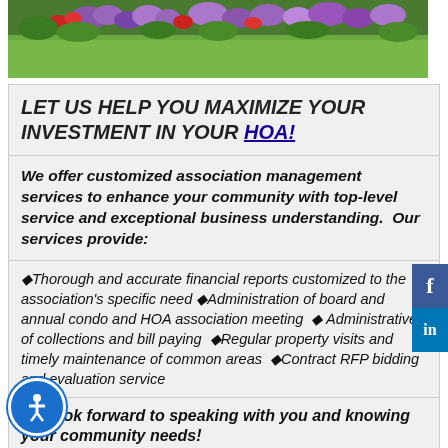[Figure (photo): Garden photo showing green lawn with colorful flowers including red, purple, and pink blooms along a border]
LET US HELP YOU MAXIMIZE YOUR INVESTMENT IN YOUR HOA!
We offer customized association management services to enhance your community with top-level service and exceptional business understanding.  Our services provide:
Thorough and accurate financial reports customized to the association's specific need
Administration of board and annual condo and HOA association meeting
Administrative of collections and bill paying
Regular property visits and timely maintenance of common areas
Contract RFP bidding and evaluation service
We look forward to speaking with you and knowing your community needs!